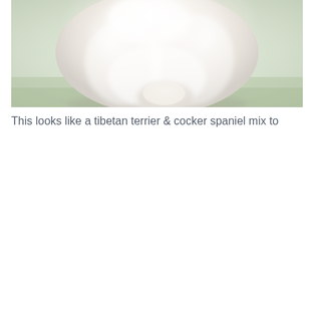[Figure (photo): A fluffy white dog, appearing to be a tibetan terrier and cocker spaniel mix, photographed from above on green grass. The dog has long, curly white/cream fur.]
This looks like a tibetan terrier & cocker spaniel mix to